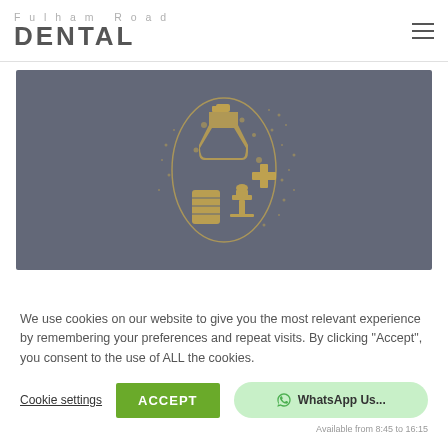Fulham Road DENTAL
[Figure (illustration): Dark grey banner with golden/yellow dental/medical icons arranged in a tooth-like or padlock shape, including a flask, medical cross, microscope, tablet/pill, and scattered dots forming a decorative medical illustration.]
We use cookies on our website to give you the most relevant experience by remembering your preferences and repeat visits. By clicking "Accept", you consent to the use of ALL the cookies.
Cookie settings
ACCEPT
WhatsApp Us...
Available from 8:45 to 16:15